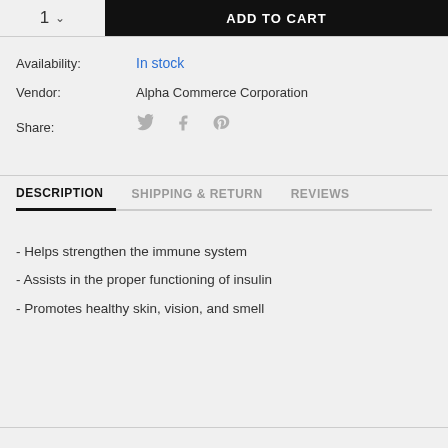[Figure (screenshot): Add to cart button with quantity selector showing '1' with dropdown arrow, and black ADD TO CART button]
Availability: In stock
Vendor: Alpha Commerce Corporation
Share: [Twitter] [Facebook] [Pinterest]
DESCRIPTION
SHIPPING & RETURN
REVIEWS
- Helps strengthen the immune system
- Assists in the proper functioning of insulin
- Promotes healthy skin, vision, and smell